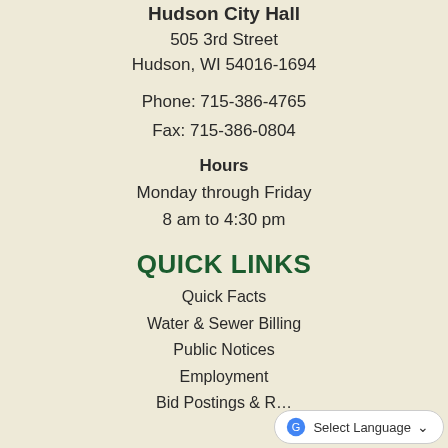Hudson City Hall
505 3rd Street
Hudson, WI 54016-1694
Phone: 715-386-4765
Fax: 715-386-0804
Hours
Monday through Friday
8 am to 4:30 pm
QUICK LINKS
Quick Facts
Water & Sewer Billing
Public Notices
Employment
Bid Postings & R…